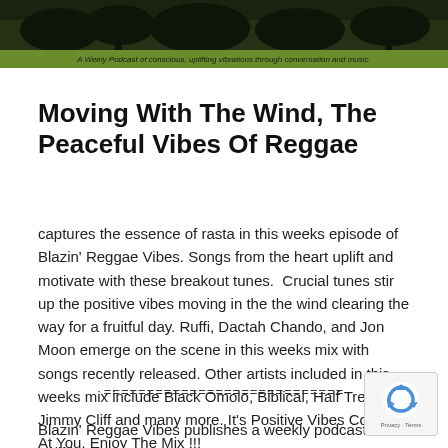[Figure (photo): Header image showing a dark outdoor/nature scene with trees, overlaid with a green banner reading 'A Weely Podcast of conscious, uplifting vibrations through conversation and music.']
Moving With The Wind, The Peaceful Vibes Of Reggae
captures the essence of rasta in this weeks episode of Blazin' Reggae Vibes. Songs from the heart uplift and motivate with these breakout tunes.  Crucial tunes stir up the positive vibes moving in the the wind clearing the way for a fruitful day. Ruffi, Dactah Chando, and Jon Moon emerge on the scene in this weeks mix with songs recently released. Other artists included in this weeks mix include Black Omolo, Biblical, Half Tree, Jimmy Cliff and many more. It's Positive Vibes Coming At You. Enjoy The Mix !!!
============================
Blazin' Reggae Vibes publishes a weekly podcast of uplifting